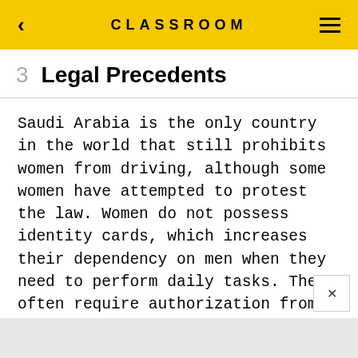CLASSROOM
3   Legal Precedents
Saudi Arabia is the only country in the world that still prohibits women from driving, although some women have attempted to protest the law. Women do not possess identity cards, which increases their dependency on men when they need to perform daily tasks. They often require authorization from a guardian to file a report with the police or speak with a health care professional. No law regulates the age of marriage and child marriage is not prohibited